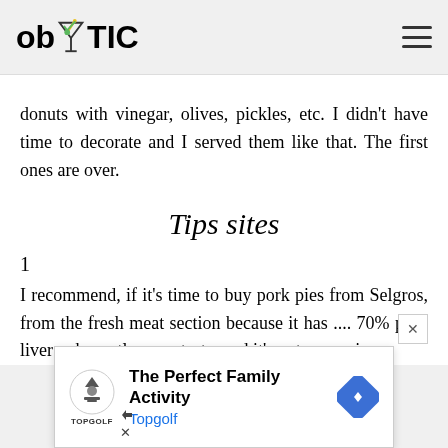ob TIC
donuts with vinegar, olives, pickles, etc. I didn't have time to decorate and I served them like that. The first ones are over.
Tips sites
1
I recommend, if it's time to buy pork pies from Selgros, from the fresh meat section because it has .... 70% pork liver ... honestly, very tasty, and it's not expensive
[Figure (infographic): Advertisement banner: The Perfect Family Activity - Topgolf, with Topgolf logo and a blue diamond navigation icon]